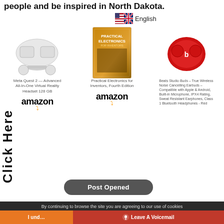people and be inspired in North Dakota.
[Figure (screenshot): Language selector showing US/UK flag emoji and English text]
[Figure (photo): Meta Quest 2 VR headset product image]
Meta Quest 2 — Advanced All-In-One Virtual Reality Headset 128 GB
[Figure (logo): Amazon logo with orange smile arrow]
[Figure (photo): Practical Electronics for Inventors, Fourth Edition book cover]
Practical Electronics for Inventors, Fourth Edition
[Figure (logo): Amazon logo with orange smile arrow]
[Figure (photo): Beats Studio Buds red earbuds product image]
Beats Studio Buds – True Wireless Noise Cancelling Earbuds – Compatible with Apple & Android, Built-in Microphone, IPX4 Rating, Sweat Resistant Earphones, Class 1 Bluetooth Headphones - Red
Click Here
Post Opened
By continuing to browse the site you are agreeing to our use of cookies
I und...
Leave A Voicemail